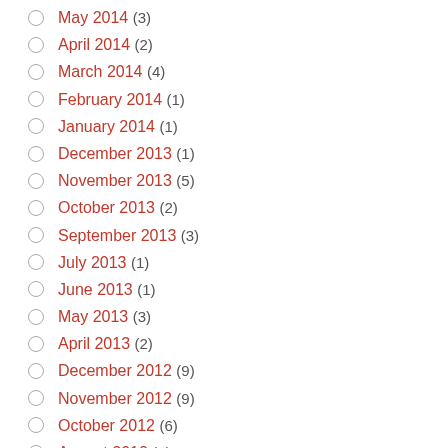May 2014 (3)
April 2014 (2)
March 2014 (4)
February 2014 (1)
January 2014 (1)
December 2013 (1)
November 2013 (5)
October 2013 (2)
September 2013 (3)
July 2013 (1)
June 2013 (1)
May 2013 (3)
April 2013 (2)
December 2012 (9)
November 2012 (9)
October 2012 (6)
August 2012 (2)
July 2012 (4)
June 2012 (6)
May 2012 (4)